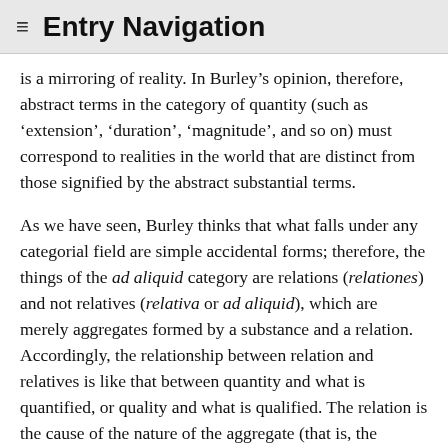≡ Entry Navigation
is a mirroring of reality. In Burley's opinion, therefore, abstract terms in the category of quantity (such as 'extension', 'duration', 'magnitude', and so on) must correspond to realities in the world that are distinct from those signified by the abstract substantial terms.
As we have seen, Burley thinks that what falls under any categorial field are simple accidental forms; therefore, the things of the ad aliquid category are relations (relationes) and not relatives (relativa or ad aliquid), which are merely aggregates formed by a substance and a relation. Accordingly, the relationship between relation and relatives is like that between quantity and what is quantified, or quality and what is qualified. The relation is the cause of the nature of the aggregate (that is, the relatives), of which it is a constituent. Unlike modern logicians, Burley denies that a relation is a two-place predicate, and views it instead as a monadic function, arguing that like the other accidental forms, relation inheres in a single substrate and makes reference to